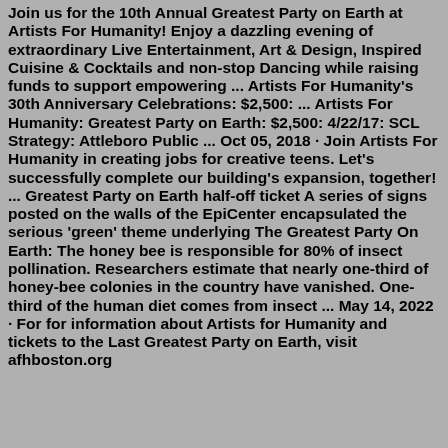Join us for the 10th Annual Greatest Party on Earth at Artists For Humanity! Enjoy a dazzling evening of extraordinary Live Entertainment, Art & Design, Inspired Cuisine & Cocktails and non-stop Dancing while raising funds to support empowering ... Artists For Humanity's 30th Anniversary Celebrations: $2,500: ... Artists For Humanity: Greatest Party on Earth: $2,500: 4/22/17: SCL Strategy: Attleboro Public ... Oct 05, 2018 · Join Artists For Humanity in creating jobs for creative teens. Let's successfully complete our building's expansion, together! ... Greatest Party on Earth half-off ticket A series of signs posted on the walls of the EpiCenter encapsulated the serious 'green' theme underlying The Greatest Party On Earth: The honey bee is responsible for 80% of insect pollination. Researchers estimate that nearly one-third of honey-bee colonies in the country have vanished. One-third of the human diet comes from insect ... May 14, 2022 · For for information about Artists for Humanity and tickets to the Last Greatest Party on Earth, visit afhboston.org